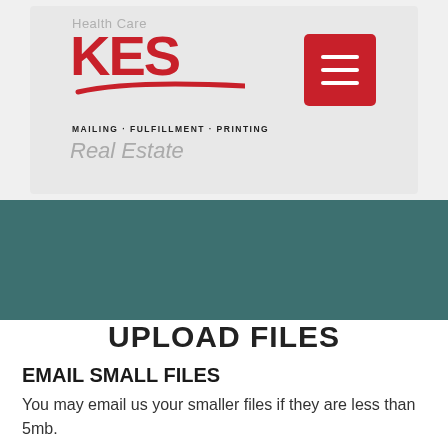[Figure (logo): KES Health Care / Real Estate mailing fulfillment printing company logo with red KES letters, swoosh underline, and hamburger menu button]
UPLOAD FILES
EMAIL SMALL FILES
You may email us your smaller files if they are less than 5mb.
Please create a file archive using standard